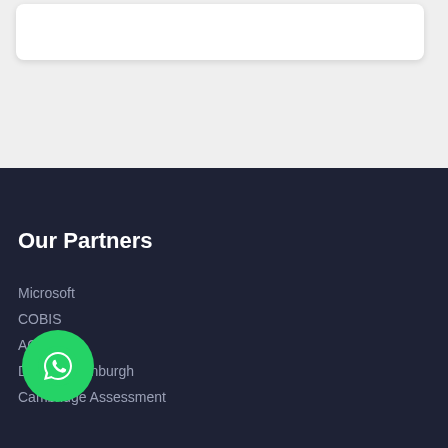[Figure (other): White card element on light grey background at top of page]
Our Partners
Microsoft
COBIS
ACG
Duke of Edinburgh
Cambridge Assessment
[Figure (other): WhatsApp floating button, circular green icon with phone/chat symbol]